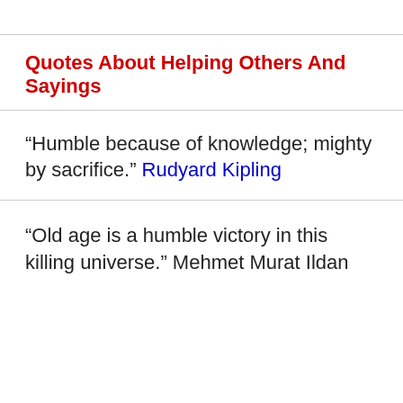Quotes About Helping Others And Sayings
“Humble because of knowledge; mighty by sacrifice.” Rudyard Kipling
“Old age is a humble victory in this killing universe.” Mehmet Murat Ildan